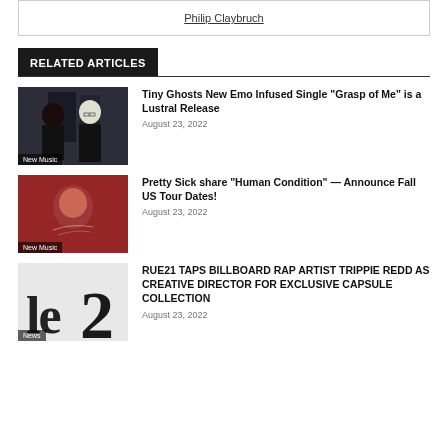Philip Claybruch
RELATED ARTICLES
Tiny Ghosts New Emo Infused Single "Grasp of Me" is a Lustral Release
August 23, 2022
Pretty Sick share “Human Condition” — Announce Fall US Tour Dates!
August 23, 2022
RUE21 TAPS BILLBOARD RAP ARTIST TRIPPIE REDD AS CREATIVE DIRECTOR FOR EXCLUSIVE CAPSULE COLLECTION
August 23, 2022